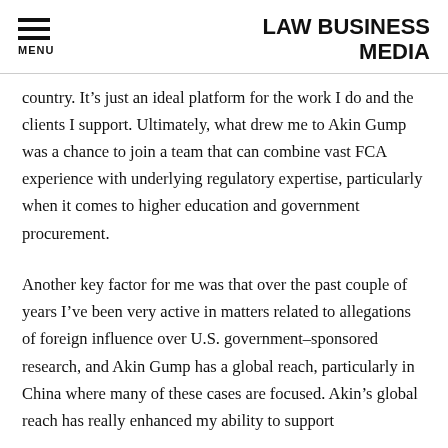MENU | LAW BUSINESS MEDIA
country. It’s just an ideal platform for the work I do and the clients I support. Ultimately, what drew me to Akin Gump was a chance to join a team that can combine vast FCA experience with underlying regulatory expertise, particularly when it comes to higher education and government procurement.
Another key factor for me was that over the past couple of years I’ve been very active in matters related to allegations of foreign influence over U.S. government–sponsored research, and Akin Gump has a global reach, particularly in China where many of these cases are focused. Akin’s global reach has really enhanced my ability to support